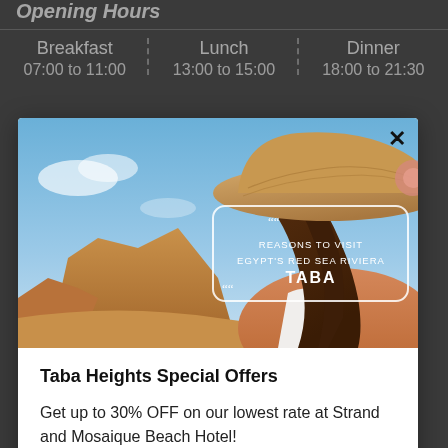Opening Hours
| Breakfast | Lunch | Dinner |
| --- | --- | --- |
| 07:00 to 11:00 | 13:00 to 15:00 | 18:00 to 21:30 |
[Figure (photo): Woman with straw hat looking at desert landscape with text overlay: REASONS TO VISIT EGYPT'S RED SEA RIVIERA TABA]
Taba Heights Special Offers
Get up to 30% OFF on our lowest rate at Strand and Mosaique Beach Hotel!
Book Now